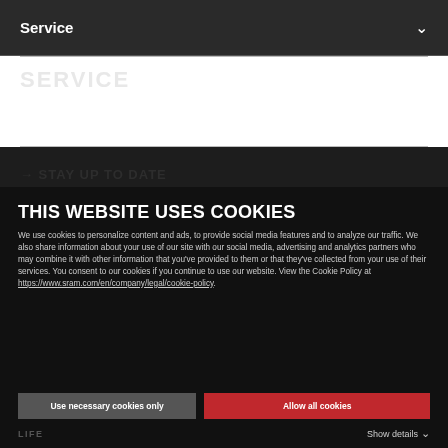Service
THIS WEBSITE USES COOKIES
We use cookies to personalize content and ads, to provide social media features and to analyze our traffic. We also share information about your use of our site with our social media, advertising and analytics partners who may combine it with other information that you've provided to them or that they've collected from your use of their services. You consent to our cookies if you continue to use our website. View the Cookie Policy at https://www.sram.com/en/company/legal/cookie-policy.
Use necessary cookies only
Allow all cookies
LIFE   Show details